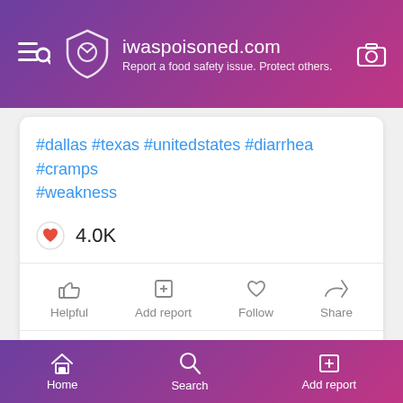iwaspoisoned.com — Report a food safety issue. Protect others.
#dallas #texas #unitedstates #diarrhea #cramps #weakness
4.0K
Helpful  Add report  Follow  Share
Write a comment…
Wingstop, Vista Wood Boulevard, Dallas, Texas, USA
Home  Search  Add report